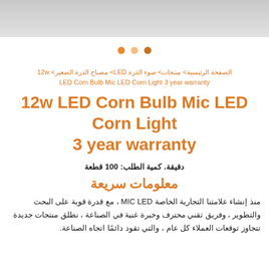[Figure (photo): Top banner image area, light gray gradient background suggesting a product photo]
[Figure (infographic): Three orange dots used as a pagination/carousel indicator]
الصفحة الرئيسية> منتجات> ضوء الذرة LED> مصباح الذرة الصغير> 12w LED Corn Bulb Mic LED Corn Light 3 year warranty
12w LED Corn Bulb Mic LED Corn Light 3 year warranty
دقيقة. كمية الطلب: 100 قطعة
معلومات سريعة
منذ إنشاء علامتنا التجارية الخاصة MIC LED ، مع قدرة قوية على البحث والتطوير ، وفريق تقني محترف وخبرة غنية في الصناعة ، نطلق منتجات جديدة تتجاوز توقعات العملاء كل عام ، والتي تقود دائمًا اتجاه الصناعة.